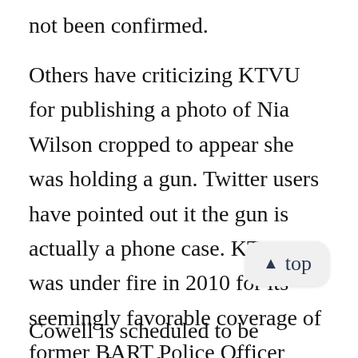not been confirmed.
Others have criticizing KTVU for publishing a photo of Nia Wilson cropped to appear she was holding a gun. Twitter users have pointed out it the gun is actually a phone case. KTVU was under fire in 2010 for its seemingly favorable coverage of former BART Police Officer Johannes Mehserle prior to his. BART also announced suspects in two other homicides that occurred on BART this past week.
Cowell is scheduled to be arraigned on charges of